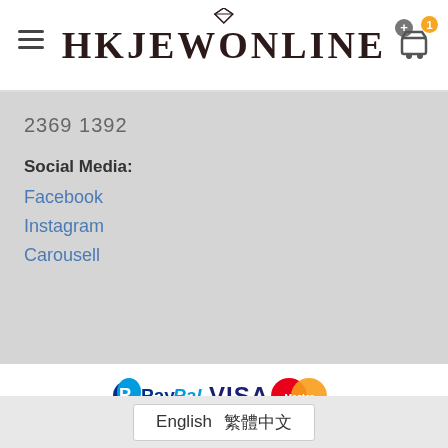HKJEWONLINE
2369 1392
Social Media:
Facebook
Instagram
Carousell
[Figure (logo): Payment logos: PayPal, VISA, MasterCard]
Copyright 2022 © HKJEWONLINE Powered by Max Cross Solution Ltd.
English | 繁體中文